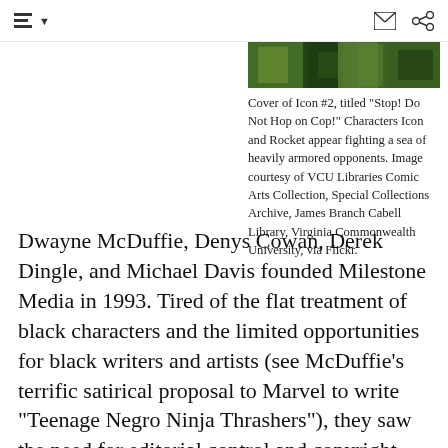≡ ▾  [mail icon] [share icon]
[Figure (photo): Top portion of a comic book cover showing green-toned jungle or dense scene with characters, partially cropped at top of page]
Cover of Icon #2, titled "Stop! Do Not Hop on Cop!" Characters Icon and Rocket appear fighting a sea of heavily armored opponents. Image courtesy of VCU Libraries Comic Arts Collection, Special Collections Archive, James Branch Cabell Library, Virginia Commonwealth University, via Flickr.
Dwayne McDuffie, Denys Cowan, Derek Dingle, and Michael Davis founded Milestone Media in 1993. Tired of the flat treatment of black characters and the limited opportunities for black writers and artists (see McDuffie's terrific satirical proposal to Marvel to write "Teenage Negro Ninja Thrashers"), they saw the need for editorial control and copyright ownership of their work. In exchange for